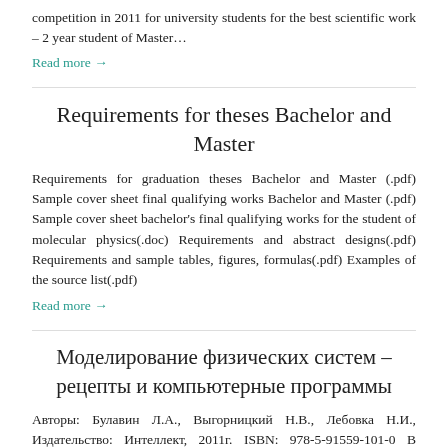competition in 2011 for university students for the best scientific work – 2 year student of Master…
Read more →
Requirements for theses Bachelor and Master
Requirements for graduation theses Bachelor and Master (.pdf) Sample cover sheet final qualifying works Bachelor and Master (.pdf) Sample cover sheet bachelor's final qualifying works for the student of molecular physics(.doc) Requirements and abstract designs(.pdf) Requirements and sample tables, figures, formulas(.pdf) Examples of the source list(.pdf)
Read more →
Моделирование физических систем – рецепты и компьютерные программы
Авторы: Булавин Л.А., Выгорницкий Н.В., Лебовка Н.И., Издательство: Интеллект, 2011г. ISBN: 978-5-91559-101-0 В учебном